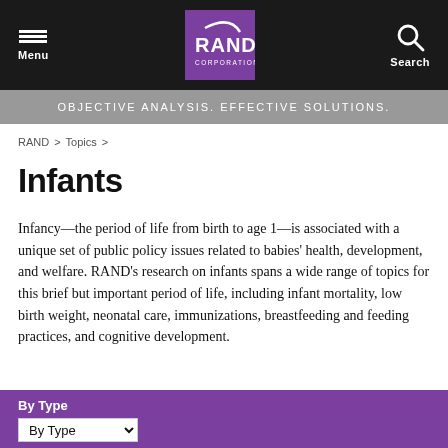Menu | RAND Corporation | Search
OBJECTIVE ANALYSIS. EFFECTIVE SOLUTIONS.
RAND > Topics >
Infants
Infancy—the period of life from birth to age 1—is associated with a unique set of public policy issues related to babies' health, development, and welfare. RAND's research on infants spans a wide range of topics for this brief but important period of life, including infant mortality, low birth weight, neonatal care, immunizations, breastfeeding and feeding practices, and cognitive development.
By Type